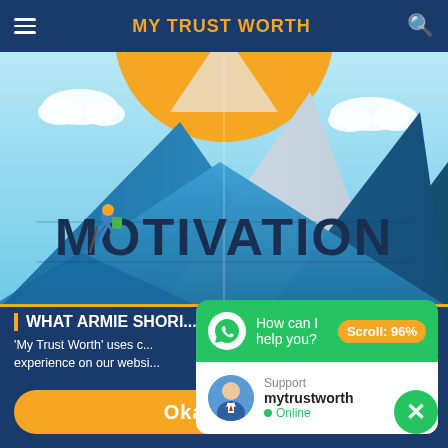MY TRUST WORTH
[Figure (illustration): Motivation illustration with mountains, hiker climbing with backpack and pole, sun in background, clouds, and the word MOTIVATION in large bold text overlaid on the mountains]
'My Trust Worth' uses c... experience on our websi...
[Figure (screenshot): WhatsApp chat widget popup showing green header with 'How can I help you?', a 'Scroll: 96%' orange badge, and a support card below with avatar, 'Support mytrustworth' and green Online indicator]
Okay!
Scroll: 96%